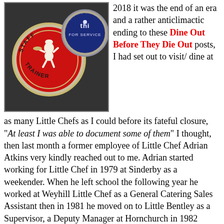[Figure (photo): Close-up photo of two Little Chef badges/pins: a red circular 'Staff Trainer' badge with the Little Chef mascot, and a blue circular 'THF for Service' badge, on a dark textured background.]
2018 it was the end of an era and a rather anticlimactic ending to these Dine Out Before They Die Out posts, I had set out to visit/ dine at as many Little Chefs as I could before its fateful closure, "At least I was able to document some of them" I thought, then last month a former employee of Little Chef Adrian Atkins very kindly reached out to me. Adrian started working for Little Chef in 1979 at Sinderby as a weekender. When he left school the following year he worked at Weyhill Little Chef as a General Catering Sales Assistant then in 1981 he moved on to Little Bentley as a Supervisor, a Deputy Manager at Hornchurch in 1982 before becoming Deputy Manager and later Regional Staff Trainer at East Horndon in 1983. Having discovered a talent for teaching he decided to train as an infant school teacher and officially left LC in 1988 to train but he returned to LC during the summer vacations of 89, 90 and